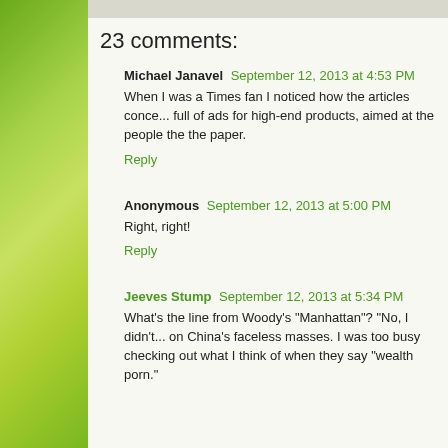23 comments:
Michael Janavel  September 12, 2013 at 4:53 PM
When I was a Times fan I noticed how the articles conce... full of ads for high-end products, aimed at the people the paper.
Reply
Anonymous  September 12, 2013 at 5:00 PM
Right, right!
Reply
Jeeves Stump  September 12, 2013 at 5:34 PM
What's the line from Woody's "Manhattan"? "No, I didn't... on China's faceless masses. I was too busy checking out... what I think of when they say "wealth porn."